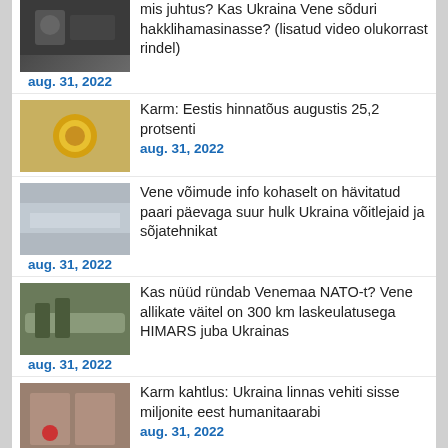mis juhtus? Kas Ukraina Vene sõduri hakklihamasinasse? (lisatud video olukorrast rindel)
aug. 31, 2022
Karm: Eestis hinnatõus augustis 25,2 protsenti
aug. 31, 2022
Vene võimude info kohaselt on hävitatud paari päevaga suur hulk Ukraina võitlejaid ja sõjatehnikat
aug. 31, 2022
Kas nüüd ründab Venemaa NATO-t? Vene allikate väitel on 300 km laskeulatusega HIMARS juba Ukrainas
aug. 31, 2022
Karm kahtlus: Ukraina linnas vehiti sisse miljonite eest humanitaarabi
aug. 31, 2022
Gazprom: Nord Streami kaudu on gaasi edastamine täielikult peatatud
aug. 31, 2022